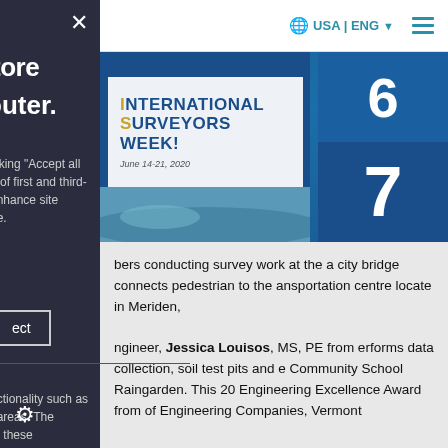USA | ENG
[Figure (photo): International Surveyors Week banner with the text 'International Surveyors Week! June 14-21, 2020' on a blue background, with photos including a surveyor silhouette and landscape, plus large numbers 6 and 7]
...bers conducting survey work at the ...a city bridge connects pedestrian to the ...ansportation centre locate in Meriden,
...ngineer, Jessica Louisos, MS, PE from ...erforms data collection, soil test pits and ...e Community School Raingarden. This ...20 Engineering Excellence Award from ...of Engineering Companies, Vermont